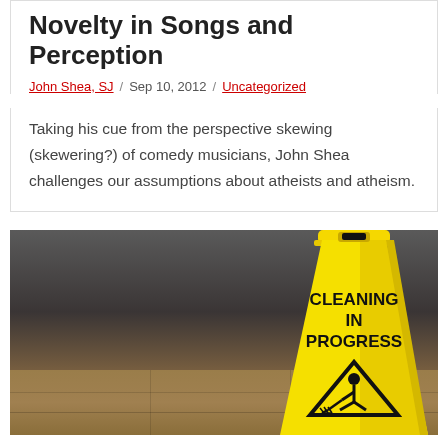Novelty in Songs and Perception
John Shea, SJ / Sep 10, 2012 / Uncategorized
Taking his cue from the perspective skewing (skewering?) of comedy musicians, John Shea challenges our assumptions about atheists and atheism.
[Figure (photo): A yellow 'Cleaning In Progress' wet floor sign on a tiled floor with a dark blurred background.]